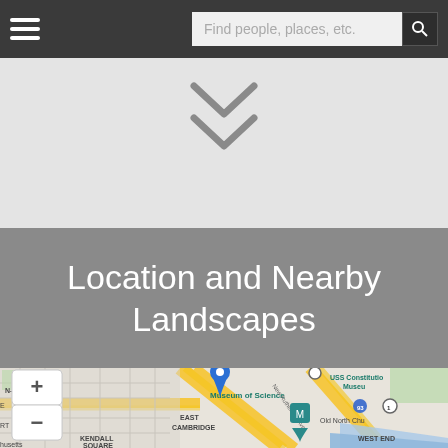Find people, places, etc.
[Figure (other): Double chevron / down arrow icons on a light gray background]
Location and Nearby Landscapes
[Figure (map): Interactive map showing Museum of Science, East Cambridge, Kendall Square, West End, N-Harrington, USS Constitution Museum, Old North Church areas in Boston/Cambridge MA. A blue location pin marks the Museum of Science. Map includes zoom +/- controls.]